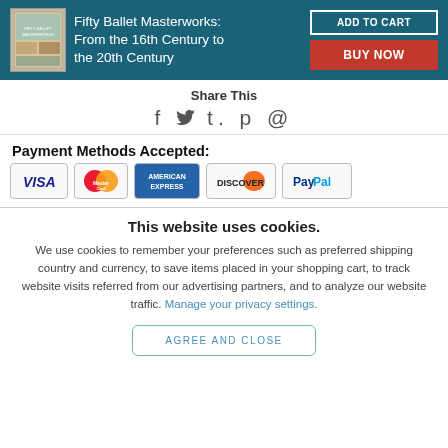Fifty Ballet Masterworks: From the 16th Century to the 20th Century | ADD TO CART | BUY NOW
Share This
f 𝕥 t. p @
Payment Methods Accepted:
[Figure (other): Payment method logos: Visa, MasterCard, American Express, Discover, PayPal]
This website uses cookies.
We use cookies to remember your preferences such as preferred shipping country and currency, to save items placed in your shopping cart, to track website visits referred from our advertising partners, and to analyze our website traffic. Manage your privacy settings.
AGREE AND CLOSE